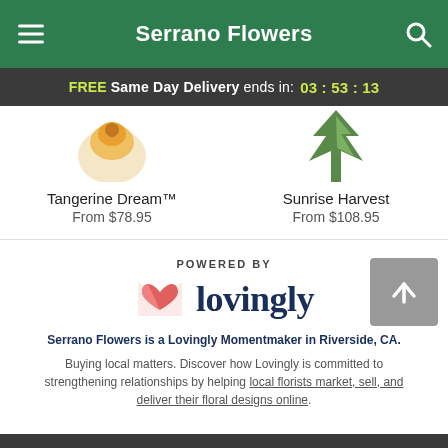Serrano Flowers
FREE Same Day Delivery ends in: 03 : 53 : 13
Tangerine Dream™
From $78.95
Sunrise Harvest
From $108.95
POWERED BY
[Figure (logo): Lovingly logo with pink/red heart-shaped icon and dark blue wordmark 'lovingly']
Serrano Flowers is a Lovingly Momentmaker in Riverside, CA.
Buying local matters. Discover how Lovingly is committed to strengthening relationships by helping local florists market, sell, and deliver their floral designs online.